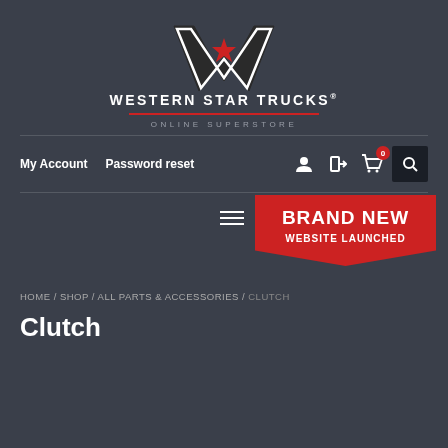[Figure (logo): Western Star Trucks logo — stylized W shape in black with a red star in the center, white border]
WESTERN STAR TRUCKS®
ONLINE SUPERSTORE
My Account   Password reset
[Figure (infographic): BRAND NEW WEBSITE LAUNCHED banner in red with chevron/pennant bottom]
HOME / SHOP / ALL PARTS & ACCESSORIES / CLUTCH
Clutch